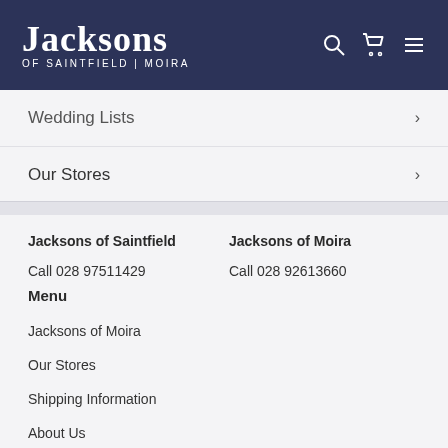Jacksons OF SAINTFIELD | MOIRA
Wedding Lists
Our Stores
Jacksons of Saintfield
Call 028 97511429
Menu
Jacksons of Moira
Call 028 92613660
Jacksons of Moira
Our Stores
Shipping Information
About Us
My Account